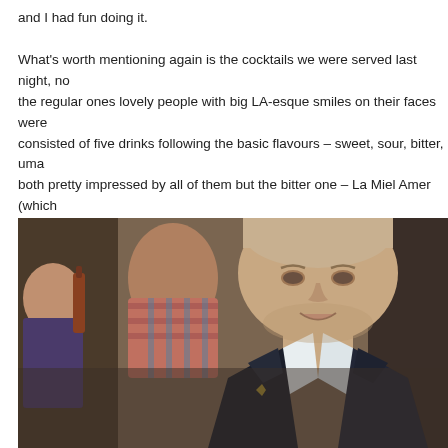and I had fun doing it.

What's worth mentioning again is the cocktails we were served last night, no the regular ones lovely people with big LA-esque smiles on their faces were consisted of five drinks following the basic flavours – sweet, sour, bitter, uma both pretty impressed by all of them but the bitter one – La Miel Amer (which somewhat poetically: You can't buy any lovely honey today because it's Sund both honey makers and honey shop owners are on strike). We've been told i vodka, grapefruit juice, bittered blossom honey and tears of virgin unicorns. picture Chris brings me my order. He's let himself go a bit, hasn't he.
[Figure (photo): Close-up photo of a man in a dark blazer and white shirt, smiling, with other people blurred in the background at what appears to be a restaurant or bar setting.]